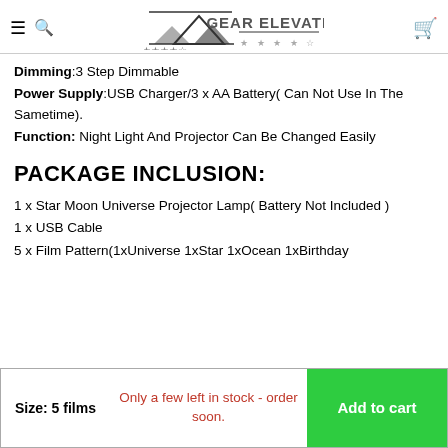Gear Elevation
Dimming:3 Step Dimmable
Power Supply:USB Charger/3 x AA Battery( Can Not Use In The Sametime).
Function: Night Light And Projector Can Be Changed Easily
PACKAGE INCLUSION:
1 x Star Moon Universe Projector Lamp( Battery Not Included )
1 x USB Cable
5 x Film Pattern(1xUniverse 1xStar 1xOcean 1xBirthday
Size: 5 films | Only a few left in stock - order soon. | Add to cart